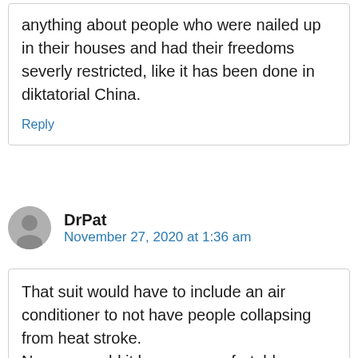anything about people who were nailed up in their houses and had their freedoms severly restricted, like it has been done in diktatorial China.
Reply
DrPat
November 27, 2020 at 1:36 am
That suit would have to include an air conditioner to not have people collapsing from heat stroke.
No way would it be more comfortable